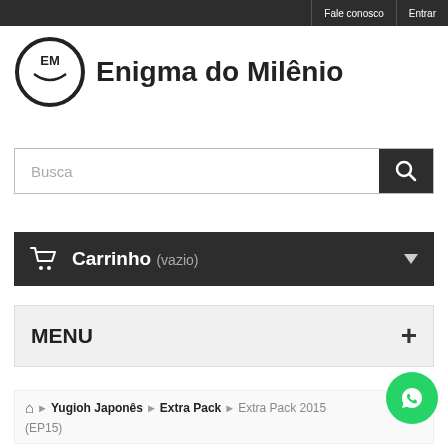Fale conosco | Entrar
[Figure (logo): Enigma do Milênio logo: circle with EM initials and brand name text]
Busca
Carrinho (vazio)
MENU
Yugioh Japonês > Extra Pack > Extra Pack 2015 (EP15)